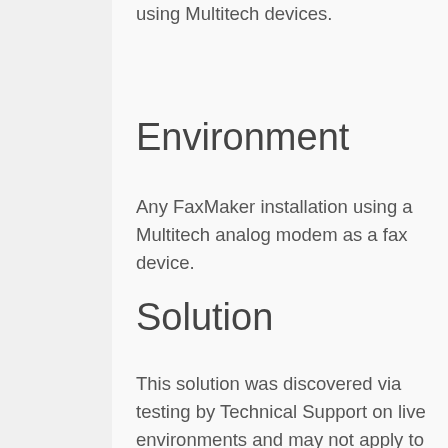using Multitech devices.
Environment
Any FaxMaker installation using a Multitech analog modem as a fax device.
Solution
This solution was discovered via testing by Technical Support on live environments and may not apply to all Multitech models.